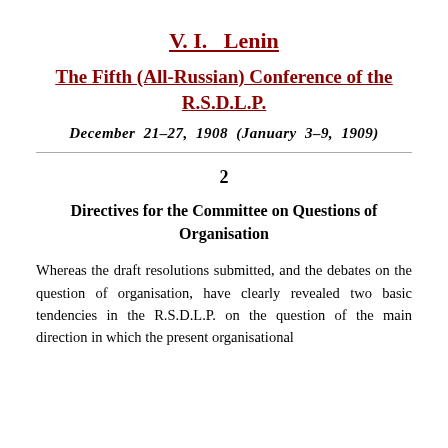V. I.  Lenin
The Fifth (All-Russian) Conference of the R.S.D.L.P.
December  21–27,  1908  (January  3–9,  1909)
2
Directives for the Committee on Questions of Organisation
Whereas the draft resolutions submitted, and the debates on the question of organisation, have clearly revealed two basic tendencies in the R.S.D.L.P. on the question of the main direction in which the present organisational